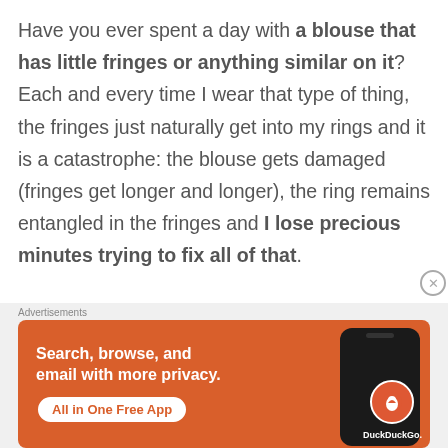Have you ever spent a day with a blouse that has little fringes or anything similar on it? Each and every time I wear that type of thing, the fringes just naturally get into my rings and it is a catastrophe: the blouse gets damaged (fringes get longer and longer), the ring remains entangled in the fringes and I lose precious minutes trying to fix all of that.
[Figure (screenshot): DuckDuckGo advertisement banner with orange background. Text reads: Search, browse, and email with more privacy. All in One Free App. Shows a phone with DuckDuckGo logo.]